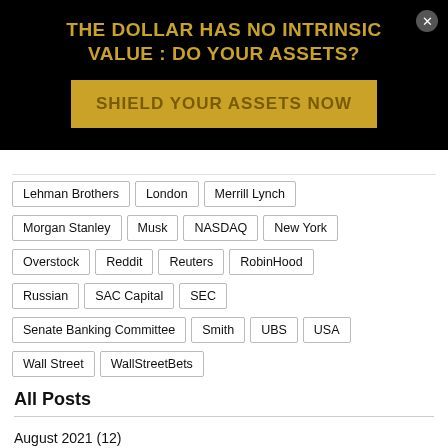THE DOLLAR HAS NO INTRINSIC VALUE : DO YOUR ASSETS?
SHIELD YOUR ASSETS NOW
Lehman Brothers
London
Merrill Lynch
Morgan Stanley
Musk
NASDAQ
New York
Overstock
Reddit
Reuters
RobinHood
Russian
SAC Capital
SEC
Senate Banking Committee
Smith
UBS
USA
Wall Street
WallStreetBets
All Posts
August 2021 (12)